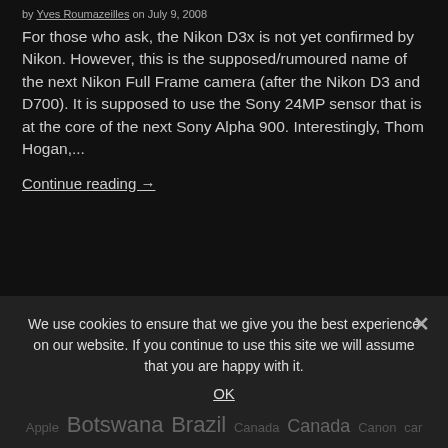by Yves Roumazeilles on July 9, 2008
For those who ask, the Nikon D3x is not yet confirmed by Nikon. However, this is the supposed/rumoured name of the next Nikon Full Frame camera (after the Nikon D3 and D700). It is supposed to use the Sony 24MP sensor that is at the core of the next Sony Alpha 900. Interestingly, Thom Hogan,...
Continue reading →
In R.net :
We use cookies to ensure that we give you the best experience on our website. If you continue to use this site we will assume that you are happy with it.
OK
Apple Botswana Brazil Canada Canon car